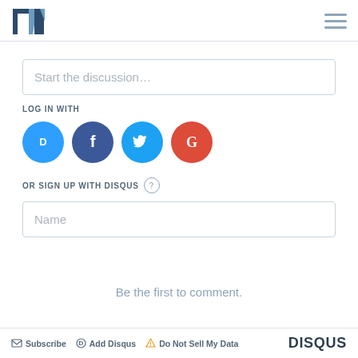TM logo and hamburger menu
Start the discussion…
LOG IN WITH
[Figure (illustration): Four social login icons: Disqus (blue circle with D), Facebook (dark blue circle with f), Twitter (light blue circle with bird), Google (red circle with G)]
OR SIGN UP WITH DISQUS ?
Name
Be the first to comment.
Subscribe  Add Disqus  Do Not Sell My Data  DISQUS